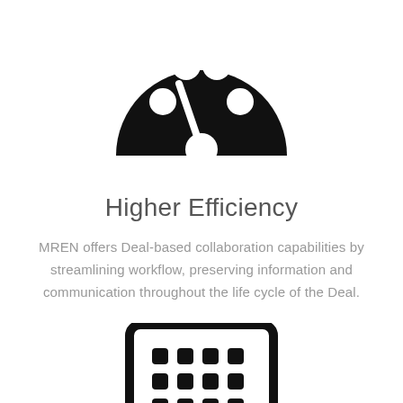[Figure (illustration): Black speedometer/dashboard icon — a semicircular gauge shape with a needle pointing slightly left of center, and five white circular indicators around it]
Higher Efficiency
MREN offers Deal-based collaboration capabilities by streamlining workflow, preserving information and communication throughout the life cycle of the Deal.
[Figure (illustration): Black outline icon of a tablet/device showing a grid of small rounded square app icons on its screen — partially cropped at bottom of page]